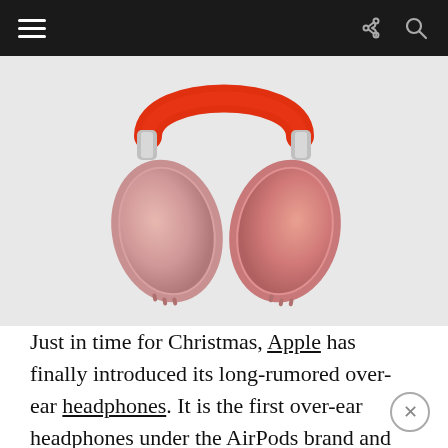Navigation bar with hamburger menu, share icon, and search icon
[Figure (photo): Apple AirPods Max over-ear headphones in pink/rose gold color with a red headband, photographed on a light gray background. The ear cups are large and oval-shaped with a mesh-like texture gradient from pink to rose gold.]
Just in time for Christmas, Apple has finally introduced its long-rumored over-ear headphones. It is the first over-ear headphones under the AirPods brand and joins the AirPods and AirPods Pro in Apple's lineup.